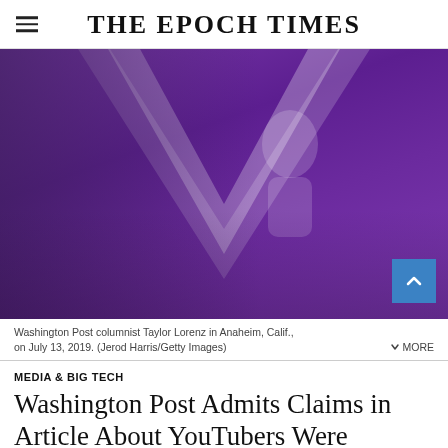THE EPOCH TIMES
[Figure (photo): Washington Post columnist Taylor Lorenz speaking into a microphone at an event in Anaheim, California, with a large purple V-shaped logo backdrop behind her.]
Washington Post columnist Taylor Lorenz in Anaheim, Calif., on July 13, 2019. (Jerod Harris/Getty Images)
MEDIA & BIG TECH
Washington Post Admits Claims in Article About YouTubers Were Inaccurate